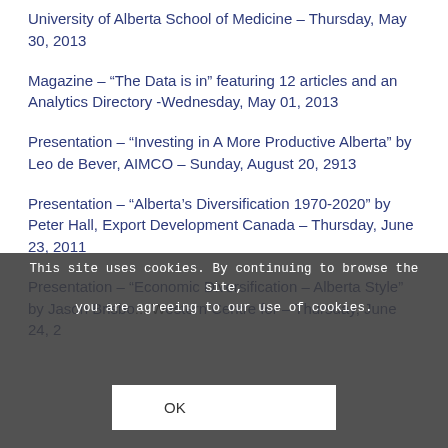University of Alberta School of Medicine – Thursday, May 30, 2013
Magazine – “The Data is in” featuring 12 articles and an Analytics Directory -Wednesday, May 01, 2013
Presentation – “Investing in A More Productive Alberta” by Leo de Bever, AIMCO – Sunday, August 20, 2913
Presentation – “Alberta’s Diversification 1970-2020” by Peter Hall, Export Development Canada – Thursday, June 23, 2011
Presentation – “Economic Diversification – Alberta Style” by Jason Brisbo... Western Centre for – Thursday, June 24, 2...
This site uses cookies. By continuing to browse the site, you are agreeing to our use of cookies.
OK